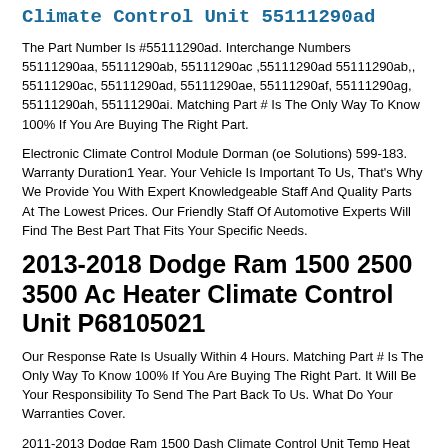Climate Control Unit 55111290ad
The Part Number Is #55111290ad. Interchange Numbers 55111290aa, 55111290ab, 55111290ac ,55111290ad 55111290ab,, 55111290ac, 55111290ad, 55111290ae, 55111290af, 55111290ag, 55111290ah, 55111290ai. Matching Part # Is The Only Way To Know 100% If You Are Buying The Right Part.
Electronic Climate Control Module Dorman (oe Solutions) 599-183. Warranty Duration1 Year. Your Vehicle Is Important To Us, That's Why We Provide You With Expert Knowledgeable Staff And Quality Parts At The Lowest Prices. Our Friendly Staff Of Automotive Experts Will Find The Best Part That Fits Your Specific Needs.
2013-2018 Dodge Ram 1500 2500 3500 Ac Heater Climate Control Unit P68105021
Our Response Rate Is Usually Within 4 Hours. Matching Part # Is The Only Way To Know 100% If You Are Buying The Right Part. It Will Be Your Responsibility To Send The Part Back To Us. What Do Your Warranties Cover.
2011-2013 Dodge Ram 1500 Dash Climate Control Unit Temp Heat Ac